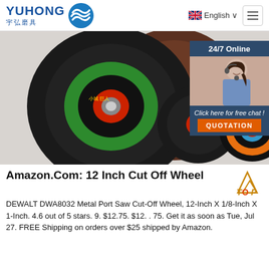[Figure (logo): Yuhong 宇弘磨具 logo with blue wave icon]
English ∨
[Figure (screenshot): Product hero image showing multiple grinding/cut-off wheels in various sizes with green, blue, orange labels, plus a 24/7 Online chat overlay with a customer service representative photo and QUOTATION button]
Amazon.Com: 12 Inch Cut Off Wheel
DEWALT DWA8032 Metal Port Saw Cut-Off Wheel, 12-Inch X 1/8-Inch X 1-Inch. 4.6 out of 5 stars. 9. $12.75. $12. . 75. Get it as soon as Tue, Jul 27. FREE Shipping on orders over $25 shipped by Amazon.